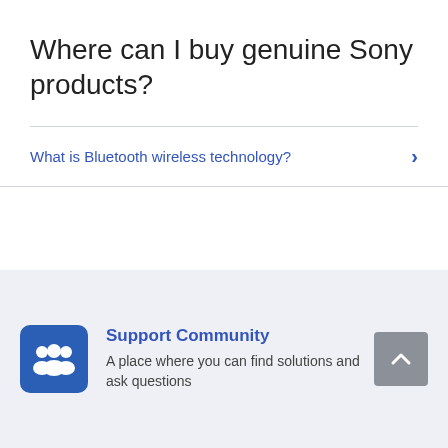Where can I buy genuine Sony products?
What is Bluetooth wireless technology?
Support Community
A place where you can find solutions and ask questions